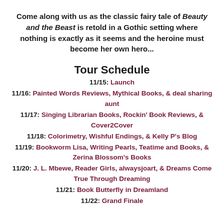Come along with us as the classic fairy tale of Beauty and the Beast is retold in a Gothic setting where nothing is exactly as it seems and the heroine must become her own hero...
Tour Schedule
11/15: Launch
11/16: Painted Words Reviews, Mythical Books, & deal sharing aunt
11/17: Singing Librarian Books, Rockin' Book Reviews, & Cover2Cover
11/18: Colorimetry, Wishful Endings, & Kelly P's Blog
11/19: Bookworm Lisa, Writing Pearls, Teatime and Books, & Zerina Blossom's Books
11/20: J. L. Mbewe, Reader Girls, alwaysjoart, & Dreams Come True Through Dreaming
11/21: Book Butterfly in Dreamland
11/22: Grand Finale